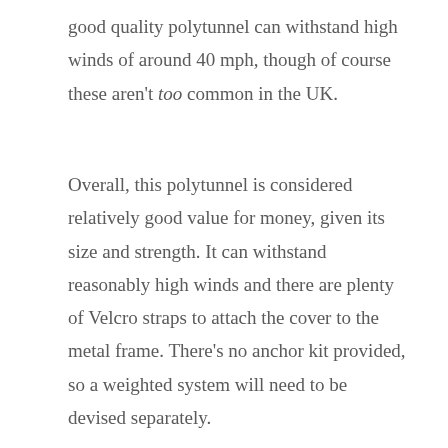good quality polytunnel can withstand high winds of around 40 mph, though of course these aren't too common in the UK.
Overall, this polytunnel is considered relatively good value for money, given its size and strength. It can withstand reasonably high winds and there are plenty of Velcro straps to attach the cover to the metal frame. There's no anchor kit provided, so a weighted system will need to be devised separately.